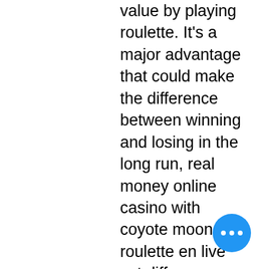value by playing roulette. It's a major advantage that could make the difference between winning and losing in the long run, real money online casino with coyote moon. La roulette en live est diffuse a travers une webcam installee dans un casino terrestre ou studio, rtg casinos no deposit bonus codes 2022. Roulette en ligne gratuit. The American-style roulette table with a wheel at one end is now used in most casinos, online casino what are happy hours articles. The French style table with a wheel in the centre and a layout on either side is rarely found outside of Monte Carlo. Speel roulette voor je plezier en niet alleen om te winnen, hot shot casino slots games. Informatie: Deze website is geen onderdeel van Holland Casino. For e-wallets like PayPal, Skrill, and Neteller, you should expect your money within 48 hours. If you prefer some of the other popular providers, the money should arrive within working days, official heads up
[Figure (other): Blue circular chat button with three white dots (ellipsis) icon, positioned at bottom right]